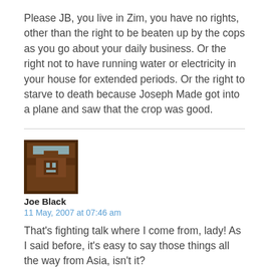Please JB, you live in Zim, you have no rights, other than the right to be beaten up by the cops as you go about your daily business. Or the right not to have running water or electricity in your house for extended periods. Or the right to starve to death because Joseph Made got into a plane and saw that the crop was good.
[Figure (illustration): Pixel art avatar icon showing a brown background with a stylized figure/character in lighter brown and blue-grey tones]
Joe Black
11 May, 2007 at 07:46 am
That's fighting talk where I come from, lady! As I said before, it's easy to say those things all the way from Asia, isn't it?